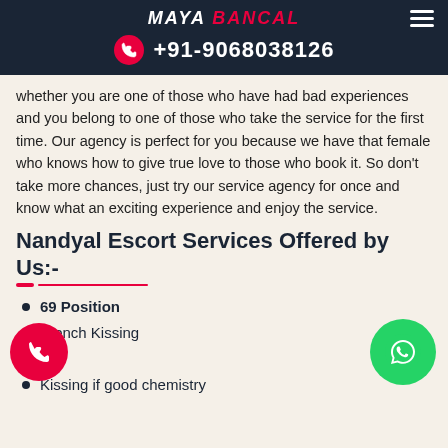MAYA BANCAL +91-9068038126
whether you are one of those who have had bad experiences and you belong to one of those who take the service for the first time. Our agency is perfect for you because we have that female who knows how to give true love to those who book it. So don't take more chances, just try our service agency for once and know what an exciting experience and enjoy the service.
Nandyal Escort Services Offered by Us:-
69 Position
French Kissing
ing
Kissing if good chemistry
Erotic massage